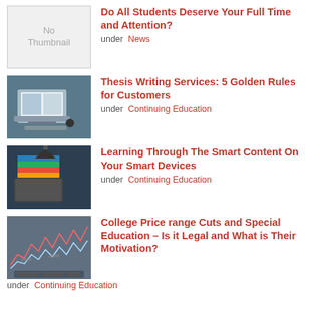[Figure (illustration): No Thumbnail placeholder box]
Do All Students Deserve Your Full Time and Attention?
under  News
[Figure (photo): Person typing on laptop with open book]
Thesis Writing Services: 5 Golden Rules for Customers
under  Continuing Education
[Figure (photo): Stack of books with graduation cap and tablet]
Learning Through The Smart Content On Your Smart Devices
under  Continuing Education
[Figure (photo): Stock charts and person working on laptop]
College Price range Cuts and Special Education – Is it Legal and What is Their Motivation?
under  Continuing Education